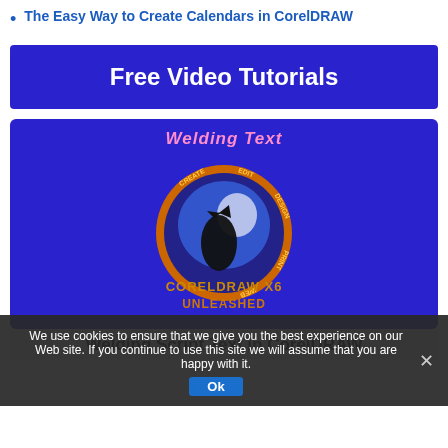The Easy Way to Create Calendars in CorelDRAW
Free Video Tutorials
[Figure (screenshot): Video thumbnail for 'Welding Text' tutorial showing CorelDRAW X6 Unleashed logo with a howling wolf silhouette against a moon, on a dark blue background with 'Welding Text' title in pink/white.]
We use cookies to ensure that we give you the best experience on our Web site. If you continue to use this site we will assume that you are happy with it.
Welding Script Text in CorelDRAW